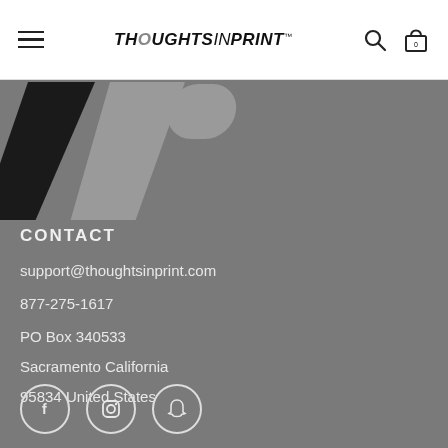[Figure (logo): Thoughts In Print logo in navigation bar, italic bold uppercase text]
[Figure (logo): Large IP initials watermark logo in dark gray/black on gray background]
CONTACT
support@thoughtsinprint.com
877-275-1617
PO Box 340533
Sacramento California
95834 United States
[Figure (illustration): Three social media icons in circles: Facebook (f), Instagram, Snapchat (ghost)]